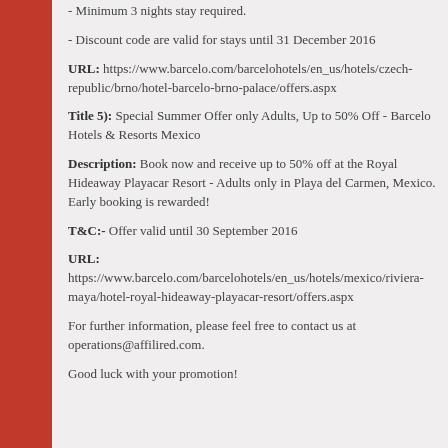- Minimum 3 nights stay required.
- Discount code are valid for stays until 31 December 2016
URL: https://www.barcelo.com/barcelohotels/en_us/hotels/czech-republic/brno/hotel-barcelo-brno-palace/offers.aspx
Title 5): Special Summer Offer only Adults, Up to 50% Off - Barcelo Hotels & Resorts Mexico
Description: Book now and receive up to 50% off at the Royal Hideaway Playacar Resort - Adults only in Playa del Carmen, Mexico. Early booking is rewarded!
T&C:- Offer valid until 30 September 2016
URL: https://www.barcelo.com/barcelohotels/en_us/hotels/mexico/riviera-maya/hotel-royal-hideaway-playacar-resort/offers.aspx
For further information, please feel free to contact us at operations@affilired.com.
Good luck with your promotion!